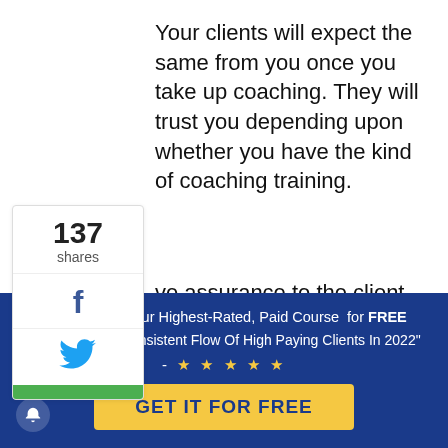Your clients will expect the same from you once you take up coaching. They will trust you depending upon whether you have the kind of coaching training.
[Figure (infographic): Social share sidebar showing 137 shares, Facebook icon, Twitter bird icon, and a green bar at the bottom]
...ve assurance to the client, you need to ...up coaching training. It includes both ...etical and practical applications. You ...ouild credibility after the program.
I'm giving you our Highest-Rated, Paid Course for FREE "How To Get A Consistent Flow Of High Paying Clients In 2022" - ★ ★ ★ ★ ★
GET IT FOR FREE